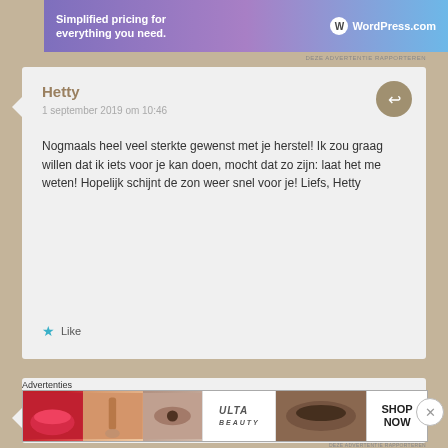[Figure (screenshot): WordPress.com ad banner: 'Simplified pricing for everything you need.']
DEZE ADVERTENTIE RAPPORTEREN
Hetty
1 september 2019 om 10:46
Nogmaals heel veel sterkte gewenst met je herstel! Ik zou graag willen dat ik iets voor je kan doen, mocht dat zo zijn: laat het me weten! Hopelijk schijnt de zon weer snel voor je! Liefs, Hetty
Like
Anoniem
1 september 2019 om 12:52
Advertenties
[Figure (screenshot): ULTA beauty advertisement banner with makeup images and SHOP NOW call to action]
DEZE ADVERTENTIE RAPPORTEREN